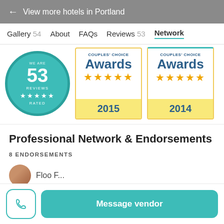← View more hotels in Portland
Gallery 54  About  FAQs  Reviews 53  Network
[Figure (other): 53 Reviews 5-star rated badge circle in teal, and two Couples' Choice Awards cards for 2015 and 2014 with 5 gold stars each]
Professional Network & Endorsements
8 ENDORSEMENTS
Message vendor